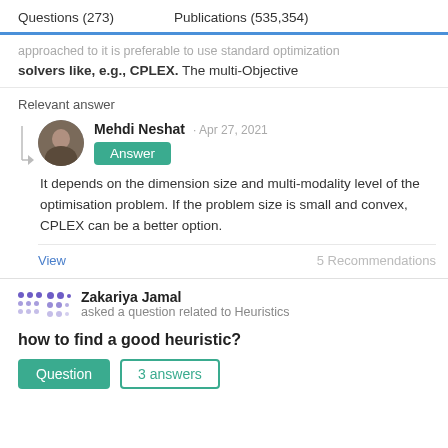Questions (273)    Publications (535,354)
approached to it is preferable to use standard optimization solvers like, e.g., CPLEX. The multi-Objective
Relevant answer
Mehdi Neshat · Apr 27, 2021
Answer
It depends on the dimension size and multi-modality level of the optimisation problem. If the problem size is small and convex, CPLEX can be a better option.
View    5 Recommendations
Zakariya Jamal
asked a question related to Heuristics
how to find a good heuristic?
Question    3 answers